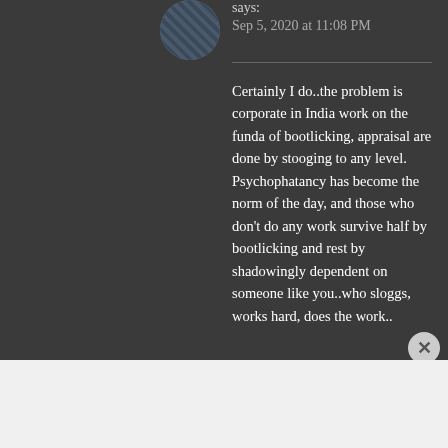says:
Sep 5, 2020 at 11:08 PM
Certainly I do..the problem is corporate in India work on the funda of bootlicking, appraisal are done by stooging to any level.
Psychophatancy has become the norm of the day, and those who don't do any work survive half by bootlicking and rest by shadowingly dependent on someone like you..who sloggs, works hard, does the work..
Advertisements
[Figure (logo): WordPress VIP logo with circle W icon and 'vip' text]
[Figure (screenshot): Advertisement banner with gradient peach/purple colors and a 'Learn more →' button]